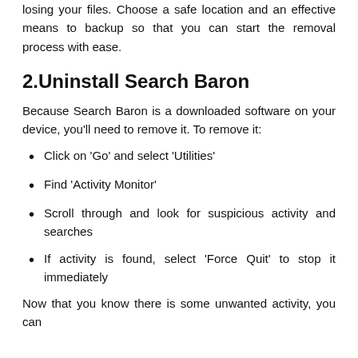losing your files. Choose a safe location and an effective means to backup so that you can start the removal process with ease.
2.Uninstall Search Baron
Because Search Baron is a downloaded software on your device, you'll need to remove it. To remove it:
Click on ‘Go’ and select ‘Utilities’
Find ‘Activity Monitor’
Scroll through and look for suspicious activity and searches
If activity is found, select ‘Force Quit’ to stop it immediately
Now that you know there is some unwanted activity, you can